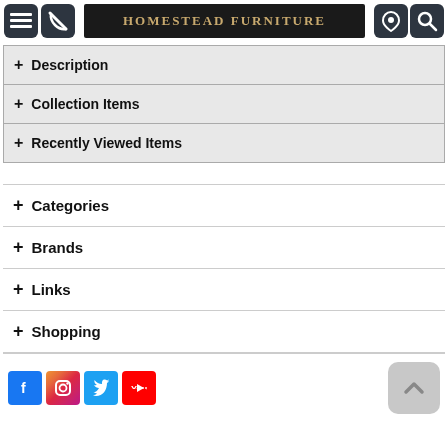Homestead Furniture
+ Description
+ Collection Items
+ Recently Viewed Items
+ Categories
+ Brands
+ Links
+ Shopping
[Figure (logo): Social media icons: Facebook, Instagram, Twitter, YouTube]
[Figure (other): Scroll to top button with up arrow]